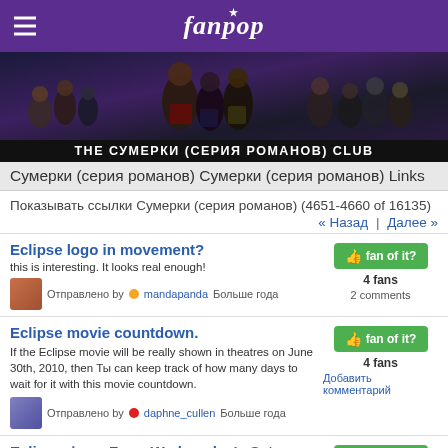fanpop
[Figure (photo): Twilight saga movie characters banner image with cast members]
THE СУМЕРКИ (СЕРИЯ РОМАНОВ) CLUB
Сумерки (серия романов) Сумерки (серия романов) Links
Показывать ссылки Сумерки (серия романов) (4651-4660 of 16135)
« Назад | Далее »
Eclipse logo in movement?
this is interesting. It looks real enough!
Отправлено by mandapanda Больше года
Eclipse movie countdown.
If the Eclipse movie will be really shown in theatres on June 30th, 2010, then Ты can keep track of how many days to wait for it with this movie countdown.
Отправлено by daphne_cullen Больше года
Eclipse фото From Wednesday's Set
i think its pretty cool that they coming out of the